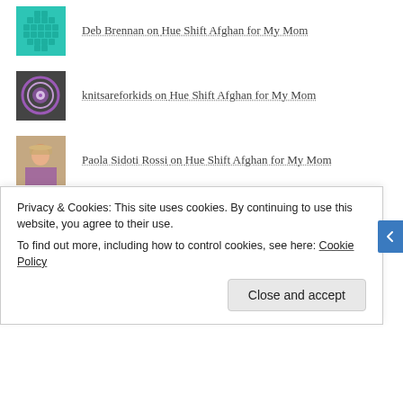Deb Brennan on Hue Shift Afghan for My Mom
knitsareforkids on Hue Shift Afghan for My Mom
Paola Sidoti Rossi on Hue Shift Afghan for My Mom
Spinning a Gradient… on Pirate Elijah Elephant
ARCHIVES
September 2018
Privacy & Cookies: This site uses cookies. By continuing to use this website, you agree to their use.
To find out more, including how to control cookies, see here: Cookie Policy
Close and accept